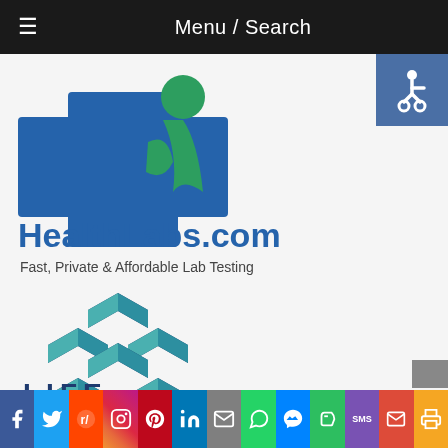Menu / Search
[Figure (logo): HealthLabs.com logo: blue medical cross with green figure, text 'HealthLabs.com' in blue and 'Fast, Private & Affordable Lab Testing' in dark gray]
[Figure (logo): Life Labs geometric hexagon logo made of dark blue and teal cube shapes, with text 'LIFE' in dark navy below]
[Figure (other): Accessibility wheelchair icon button in blue on right side]
Social share bar: Facebook, Twitter, Reddit, Instagram, Pinterest, LinkedIn, Email, WhatsApp, Messenger, Evernote, SMS, Mail, Print